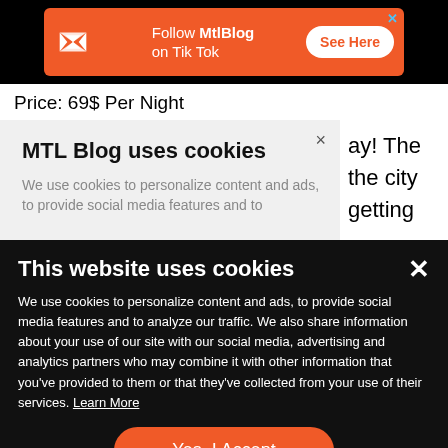[Figure (infographic): Orange advertisement banner on black background: MTL Blog logo (white Z icon), text 'Follow MtlBlog on Tik Tok', and a white 'See Here' button. Blue X close button in top right.]
Price: 69$ Per Night
MTL Blog uses cookies
We use cookies to personalize content and ads, to provide social media features and to
ay! The the city getting
This website uses cookies
We use cookies to personalize content and ads, to provide social media features and to analyze our traffic. We also share information about your use of our site with our social media, advertising and analytics partners who may combine it with other information that you've provided to them or that they've collected from your use of their services. Learn More
Yes, I Accept